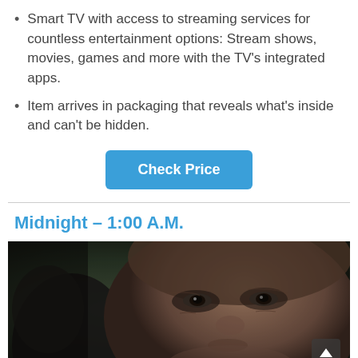Smart TV with access to streaming services for countless entertainment options: Stream shows, movies, games and more with the TV's integrated apps.
Item arrives in packaging that reveals what's inside and can't be hidden.
Check Price
Midnight – 1:00 A.M.
[Figure (photo): Close-up photo of a man's face in dim lighting, showing his eyes and facial features in a dark, dramatic tone.]